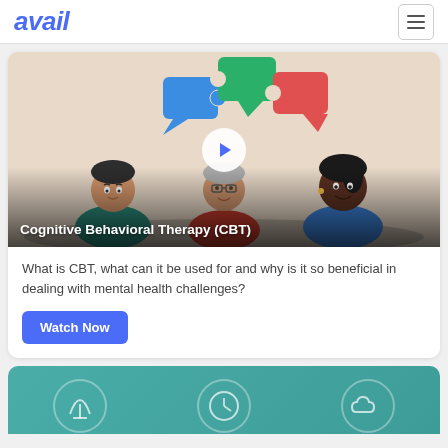avail
[Figure (screenshot): Video thumbnail showing three illustrated people (two men and a woman) with colorful puzzle-piece speech bubbles (blue, green, red) above them. A white play button circle is centered. The bottom has a dark gradient overlay with the title text.]
Cognitive Behavioral Therapy (CBT)
What is CBT, what can it be used for and why is it so beneficial in dealing with mental health challenges?
[Figure (illustration): Partial teal/turquoise gradient card showing three circular icon outlines at the bottom of the page, partially cropped.]